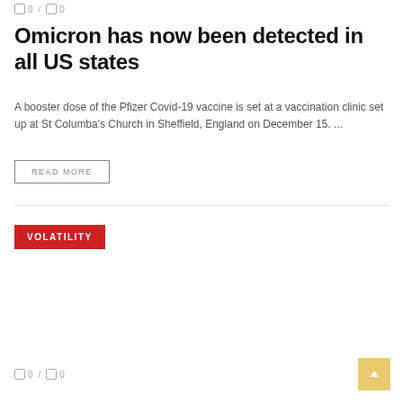0 / 0
Omicron has now been detected in all US states
A booster dose of the Pfizer Covid-19 vaccine is set at a vaccination clinic set up at St Columba's Church in Sheffield, England on December 15. ...
READ MORE
VOLATILITY
0 / 0